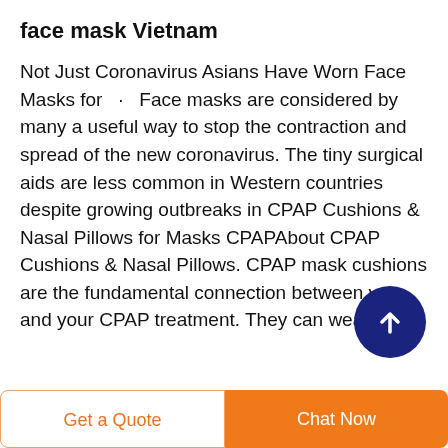face mask Vietnam
Not Just Coronavirus Asians Have Worn Face Masks for  ·  Face masks are considered by many a useful way to stop the contraction and spread of the new coronavirus. The tiny surgical aids are less common in Western countries despite growing outbreaks in CPAP Cushions & Nasal Pillows for Masks CPAPAbout CPAP Cushions & Nasal Pillows. CPAP mask cushions are the fundamental connection between you and your CPAP treatment. They can wear out
[Figure (other): Dark navy blue circular scroll-to-top button with white upward arrow icon]
Get a Quote
Chat Now